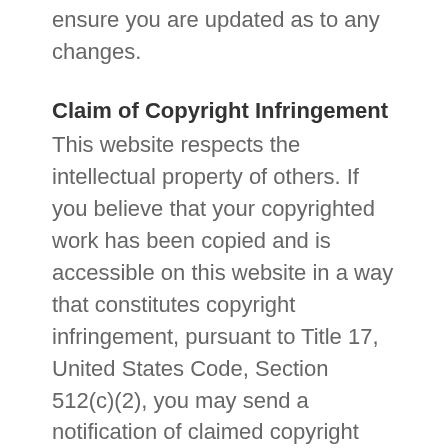ensure you are updated as to any changes.
Claim of Copyright Infringement
This website respects the intellectual property of others. If you believe that your copyrighted work has been copied and is accessible on this website in a way that constitutes copyright infringement, pursuant to Title 17, United States Code, Section 512(c)(2), you may send a notification of claimed copyright infringement to this website's designated agent along